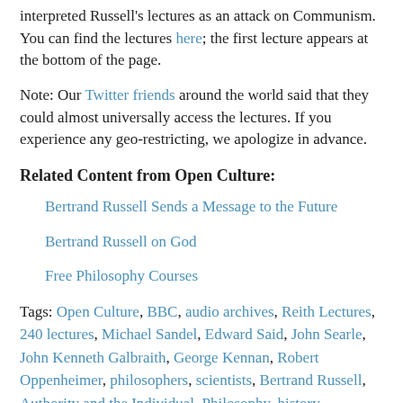interpreted Russell's lectures as an attack on Communism. You can find the lectures here; the first lecture appears at the bottom of the page.
Note: Our Twitter friends around the world said that they could almost universally access the lectures. If you experience any geo-restricting, we apologize in advance.
Related Content from Open Culture:
Bertrand Russell Sends a Message to the Future
Bertrand Russell on God
Free Philosophy Courses
Tags: Open Culture, BBC, audio archives, Reith Lectures, 240 lectures, Michael Sandel, Edward Said, John Searle, John Kenneth Galbraith, George Kennan, Robert Oppenheimer, philosophers, scientists, Bertrand Russell, Authority and the Individual, Philosophy, history, Psychology, society, Science